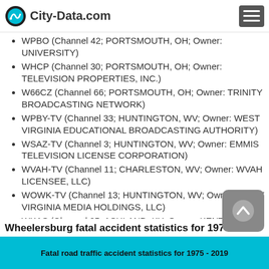City-Data.com
WPBO (Channel 42; PORTSMOUTH, OH; Owner: (UNIVERSITY))
WHCP (Channel 30; PORTSMOUTH, OH; Owner: TELEVISION PROPERTIES, INC.)
W66CZ (Channel 66; PORTSMOUTH, OH; Owner: TRINITY BROADCASTING NETWORK)
WPBY-TV (Channel 33; HUNTINGTON, WV; Owner: WEST VIRGINIA EDUCATIONAL BROADCASTING AUTHORITY)
WSAZ-TV (Channel 3; HUNTINGTON, WV; Owner: EMMIS TELEVISION LICENSE CORPORATION)
WVAH-TV (Channel 11; CHARLESTON, WV; Owner: WVAH LICENSEE, LLC)
WOWK-TV (Channel 13; HUNTINGTON, WV; Owner: WEST VIRGINIA MEDIA HOLDINGS, LLC)
WKAS (Channel 25; ASHLAND, KY; Owner: KENTUCKY AUTHORITY FOR EDUCATIONAL TV)
Wheelersburg fatal accident statistics for 1975 - 2019
Fatal road traffic accident statistics for 1975 - 2019